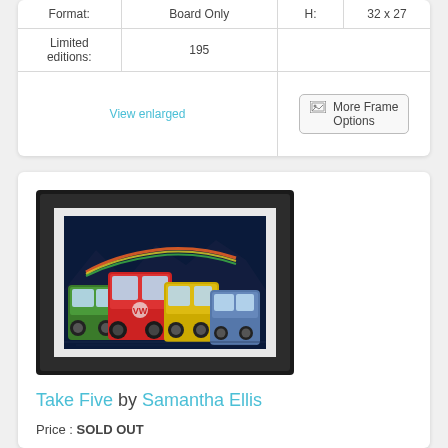| Format: | Board Only | H: | 32 x 27 |
| Limited editions: | 195 |  |  |
| View enlarged |  | More Frame Options |  |
[Figure (photo): Framed artwork showing colorful VW camper vans (Take Five by Samantha Ellis) in a black frame with white mount]
Take Five by Samantha Ellis
Price : SOLD OUT
PRODUCT DETAILS